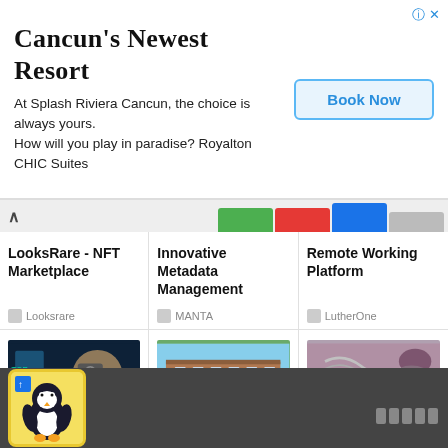[Figure (screenshot): Ad banner for Splash Riviera Cancun / Royalton CHIC Suites with Book Now button]
Cancun's Newest Resort
At Splash Riviera Cancun, the choice is always yours. How will you play in paradise? Royalton CHIC Suites
[Figure (screenshot): Taboola content grid with 6 sponsored cards: LooksRare NFT Marketplace, Innovative Metadata Management, Remote Working Platform, Team Of Expert Photographers, Apartments In Alexandria VA, Christian Dating Search]
LooksRare - NFT Marketplace
Looksrare
Innovative Metadata Management
MANTA
Remote Working Platform
LutherOne
[Figure (photo): AMZ One Step Amazon listing photos ad card image]
Team Of Expert Photographers
AMZ One Step
[Figure (photo): Rose Hill Apartments exterior photo]
Apartments In Alexandria VA
Rose Hill Apartments
[Figure (photo): Christian cross necklace photo]
Christian Dating Search
Serch.It
[Figure (illustration): Penguin cartoon icon in bottom taskbar]